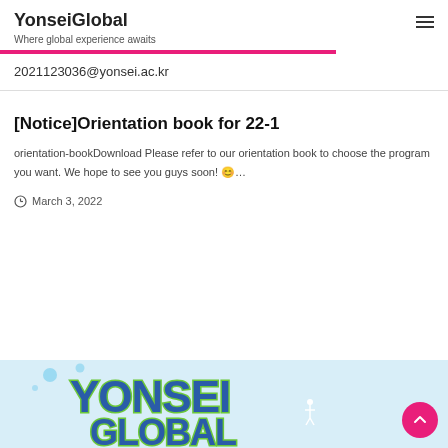YonseiGlobal
Where global experience awaits
2021123036@yonsei.ac.kr
[Notice]Orientation book for 22-1
orientation-bookDownload Please refer to our orientation book to choose the program you want. We hope to see you guys soon! 😊…
March 3, 2022
[Figure (illustration): Yonsei Global banner image showing large stylized text 'YONSEI' and 'GLOBAL' in blue with green outline on a light blue background]